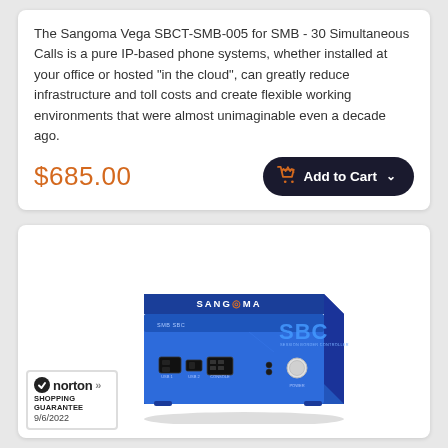The Sangoma Vega SBCT-SMB-005 for SMB - 30 Simultaneous Calls is a pure IP-based phone systems, whether installed at your office or hosted “in the cloud”, can greatly reduce infrastructure and toll costs and create flexible working environments that were almost unimaginable even a decade ago.
$685.00
[Figure (screenshot): Add to Cart button with shopping cart icon and chevron, dark navy background, rounded pill shape]
[Figure (photo): Sangoma SMB SBC (Session Border Controller) device - blue metallic box with SANGOMA logo on top, SBC label on front, USB ports, console port, and power button visible]
[Figure (logo): Norton Shopping Guarantee badge with checkmark, dated 9/6/2022]